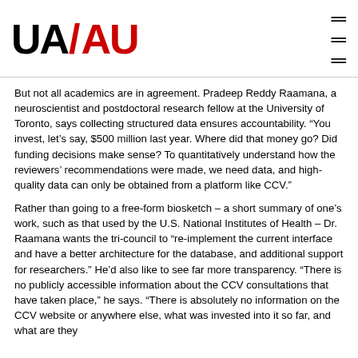UA/AU logo and navigation
But not all academics are in agreement. Pradeep Reddy Raamana, a neuroscientist and postdoctoral research fellow at the University of Toronto, says collecting structured data ensures accountability. “You invest, let’s say, $500 million last year. Where did that money go? Did funding decisions make sense? To quantitatively understand how the reviewers’ recommendations were made, we need data, and high-quality data can only be obtained from a platform like CCV.”
Rather than going to a free-form biosketch – a short summary of one’s work, such as that used by the U.S. National Institutes of Health – Dr. Raamana wants the tri-council to “re-implement the current interface and have a better architecture for the database, and additional support for researchers.” He’d also like to see far more transparency. “There is no publicly accessible information about the CCV consultations that have taken place,” he says. “There is absolutely no information on the CCV website or anywhere else, what was invested into it so far, and what are they